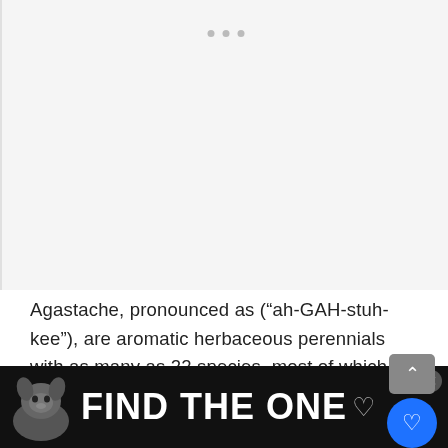[Figure (other): Light gray placeholder/ad area at top of page with three small gray dots indicating a carousel or loading state]
Agastache, pronounced as (“ah-GAH-stuh-kee”), are aromatic herbaceous perennials with as many as 22 species, most of which are native to North America. They are commonly referred to as “hummingbird mints” and “Giant hyssops”. Aside from being a hummingbird magnet, they can also be made into herbal tea
[Figure (other): Ad banner at bottom: black background with dog image and bold white text FIND THE ONE with heart icon]